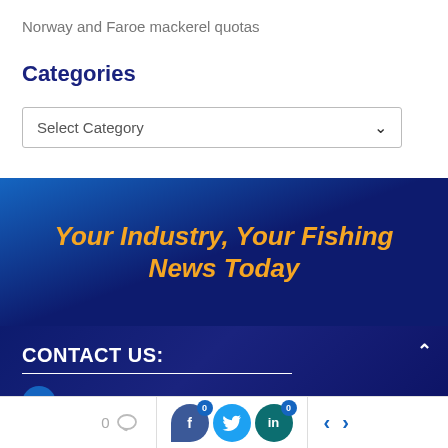Norway and Faroe mackerel quotas
Categories
Select Category
Your Industry, Your Fishing News Today
CONTACT US:
+353(0)83 826 8406 (editor)
0 comments | Facebook 0 | Twitter | LinkedIn 0 | previous | next